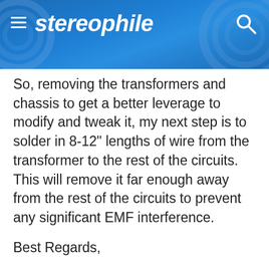stereophile
So, removing the transformers and chassis to get a better leverage to modify and tweak it, my next step is to solder in 8-12" lengths of wire from the transformer to the rest of the circuits. This will remove it far enough away from the rest of the circuits to prevent any significant EMF interference.
Best Regards,
Ron